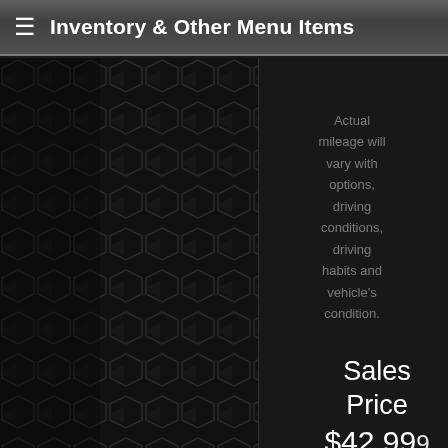≡ Inventory & Other Menu Items
Actual mileage will vary with options, driving conditions, driving habits and vehicle's condition.
2021 Ford F-150 XL RWD Crew Cab Pickup
[Figure (photo): Blue 2021 Ford F-150 XL RWD Crew Cab Pickup truck, side view, parked outdoors]
Sales Price $42,999